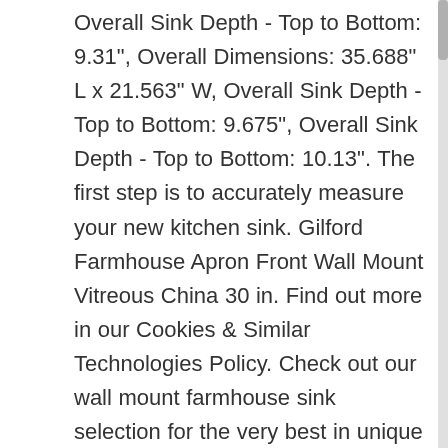Overall Sink Depth - Top to Bottom: 9.31", Overall Dimensions: 35.688" L x 21.563" W, Overall Sink Depth - Top to Bottom: 9.675", Overall Sink Depth - Top to Bottom: 10.13". The first step is to accurately measure your new kitchen sink. Gilford Farmhouse Apron Front Wall Mount Vitreous China 30 in. Find out more in our Cookies & Similar Technologies Policy. Check out our wall mount farmhouse sink selection for the very best in unique or custom, handmade pieces from our kitchen & dining shops. The most popular color? This charming sink would be ideal for casual kitchens with rustic décor. Great! You have searched for wall mount farmhouse sink and this page displays the closest product matches we have for wall mount farmhouse sink to buy online. This concrete kitchen sink is designed with four installation options; the sink's bowed edge can be installed in the front or back, apron-style or under-mount. Ceramic 16 Wall Mount Bathroom Sink with Faucet and Overflow Check price for Ceramic 16 Wall Mount Bathroom Sink with Faucet and Overflow get it to day. With millions of unique